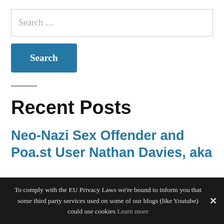[Figure (screenshot): Search input field with placeholder text 'Search ...']
Search
Recent Posts
Neo-Nazi Sex Offender and Poa.st User Nathan Davies, aka
To comply with the EU Privacy Laws we're bound to inform you that some third party services used on some of our blogs (like Youtube) could use cookies Learn more